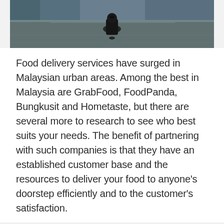[Figure (photo): A top-down street-level photo showing a delivery person on a bike/scooter on a wet road surface, viewed from above.]
Food delivery services have surged in Malaysian urban areas. Among the best in Malaysia are GrabFood, FoodPanda, Bungkusit and Hometaste, but there are several more to research to see who best suits your needs. The benefit of partnering with such companies is that they have an established customer base and the resources to deliver your food to anyone's doorstep efficiently and to the customer's satisfaction.
This website stores data such as cookies to enable essential site functionality, as well as marketing, personalization, and analytics. DATA STORAGE POLICY
ACCEPT
DENY